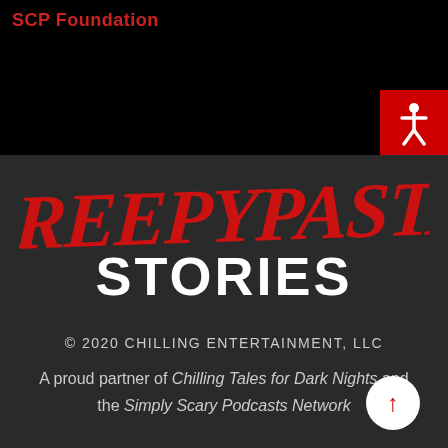SCP Foundation
[Figure (logo): Creepypasta Stories logo — 'CREEPYPASTA' in dripping red horror-style letters, 'STORIES' in bold white block letters, on dark background]
© 2020 CHILLING ENTERTAINMENT, LLC
A proud partner of Chilling Tales for Dark Nights and the Simply Scary Podcasts Network